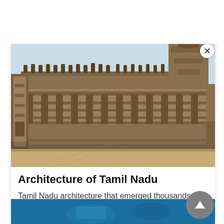[Figure (photo): Photograph of a large Dravidian-style Hindu temple complex in Tamil Nadu, showing ornate stone carvings, pillared corridors, and a gopuram tower under a clear sky. Sandy ground in the foreground.]
Architecture of Tamil Nadu
Tamil Nadu architecture that emerged thousands of years ago. It is popularly regarded as Dravidian...
[Figure (photo): Partially visible blue-toned image at the bottom of the page, appearing to show hands or an object against a blue background.]